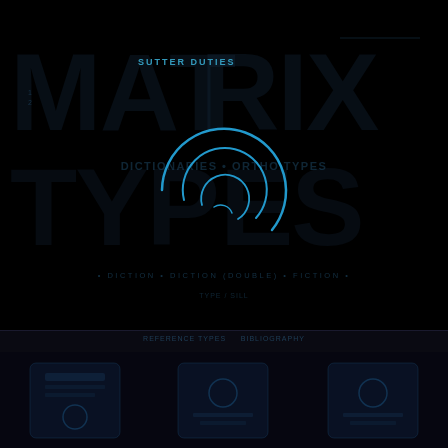[Figure (logo): Dark background page with a blue spiral/swirl logo in the center. Text reads SUTTER DUTIES at top and partially visible watermark text. Blue concentric spiral arcs form the central logo mark. Bottom section shows a darker panel with icon elements.]
SUTTER DUTIES
DICTIONARIES • ORTHO TYPES
• DICTION • DICTION (DOUBLE) • FICTION •